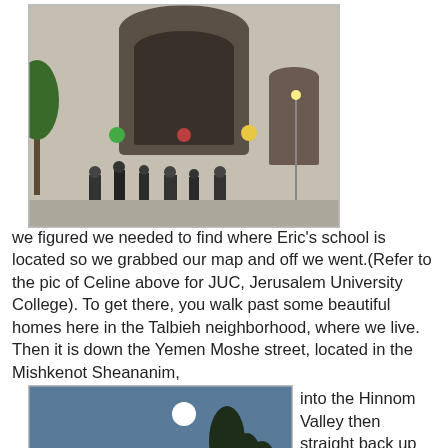[Figure (photo): Stone gate/archway with people standing at the entrance, ancient stone walls, outdoor scene in Jerusalem]
Yesterday afternoon, we figured we needed to find where Eric's school is located so we grabbed our map and off we went.(Refer to the pic of Celine above for JUC, Jerusalem University College). To get there, you walk past some beautiful homes here in the Talbieh neighborhood, where we live. Then it is down the Yemen Moshe street, located in the Mishkenot Sheananim, into the Hinnom Valley then straight back up the other side. The school is just outside the Zion Gate of Old City in a building built in 1853. The Hagia Maria Abbey is between the two.
[Figure (photo): Night or dusk cityscape with a full moon, trees in foreground, city and domes visible in background — likely Jerusalem Old City view]